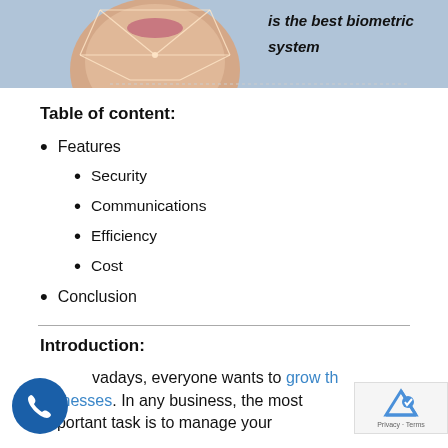[Figure (photo): Partial face/chin with biometric face-detection grid overlay on grey background, with italic bold text 'is the best biometric system' on the right side]
Table of content:
Features
Security
Communications
Efficiency
Cost
Conclusion
Introduction:
Nowadays, everyone wants to grow their businesses. In any business, the most important task is to manage your